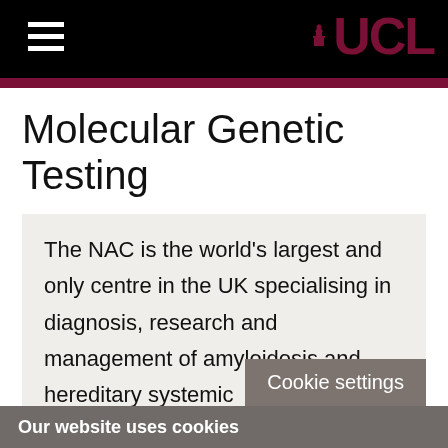UCL
Molecular Genetic Testing
The NAC is the world's largest and only centre in the UK specialising in diagnosis, research and management of amyloidosis and hereditary systemic autoinflammatory diseases (SAIDs).
Key Staff
Cookie settings
Our website uses cookies